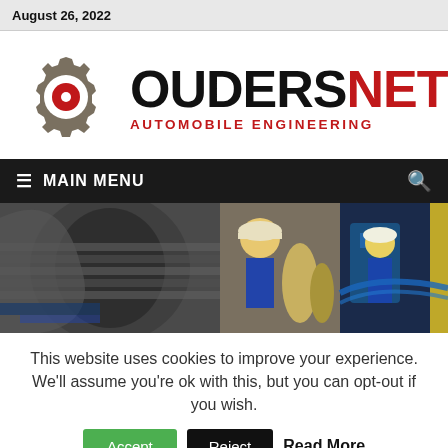August 26, 2022
[Figure (logo): OudersNet Automobile Engineering logo with gear icon and brand name]
[Figure (photo): Hero banner showing industrial machinery and engineers working on automobile engineering equipment]
This website uses cookies to improve your experience. We'll assume you're ok with this, but you can opt-out if you wish.
Accept | Reject | Read More